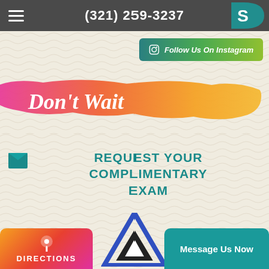(321) 259-3237
Follow Us On Instagram
[Figure (illustration): Colorful pink-to-orange horizontal brush stroke with cursive text 'Don't Wait']
REQUEST YOUR COMPLIMENTARY EXAM
[Figure (logo): Triangle/delta shaped logo in blue and black at the bottom center]
DIRECTIONS
Message Us Now